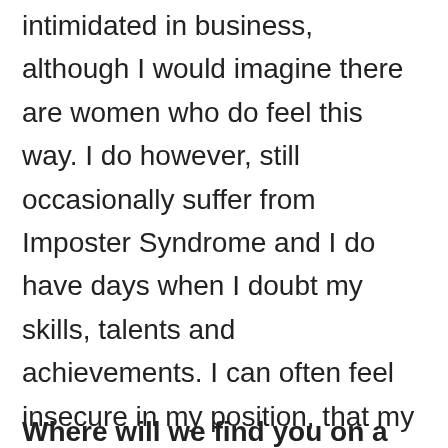intimidated in business, although I would imagine there are women who do feel this way. I do however, still occasionally suffer from Imposter Syndrome and I do have days when I doubt my skills, talents and achievements. I can often feel insecure in my position, that my commitment and ability to dedicate 100% to any particular role or task may be questioned on occasion, simplybecause I am a Mother.
Where will we find you on a Saturday